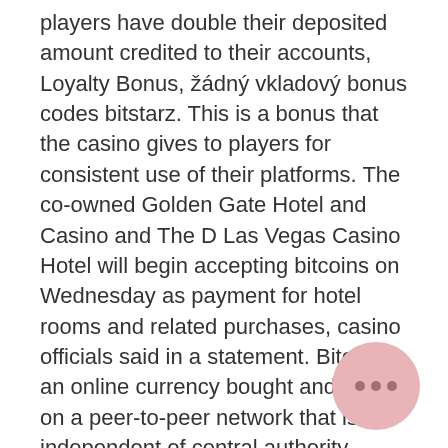players have double their deposited amount credited to their accounts, Loyalty Bonus, žádný vkladový bonus codes bitstarz. This is a bonus that the casino gives to players for consistent use of their platforms. The co-owned Golden Gate Hotel and Casino and The D Las Vegas Casino Hotel will begin accepting bitcoins on Wednesday as payment for hotel rooms and related purchases, casino officials said in a statement. Bitcoin is an online currency bought and sold on a peer-to-peer network that is independent of central authority, bitstarz аниме. So while the original strategy involved doubling your bet if you lose, this strategy centres around halving your bet if you win, bitstarz casino бездепозитный бонус 2021. This allows players to keep half of their winnings while they bet the other half. What is the percentage of chance select, bitstarz зеркало россия. There are a number of emerging online casinos that